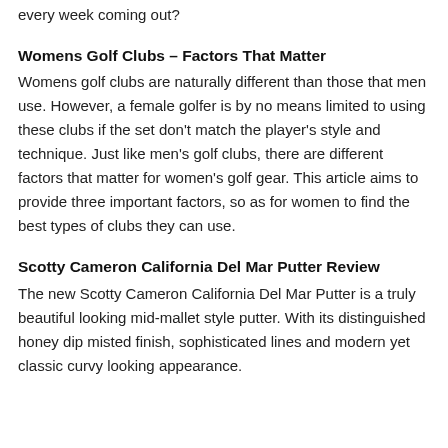every week coming out?
Womens Golf Clubs – Factors That Matter
Womens golf clubs are naturally different than those that men use. However, a female golfer is by no means limited to using these clubs if the set don't match the player's style and technique. Just like men's golf clubs, there are different factors that matter for women's golf gear. This article aims to provide three important factors, so as for women to find the best types of clubs they can use.
Scotty Cameron California Del Mar Putter Review
The new Scotty Cameron California Del Mar Putter is a truly beautiful looking mid-mallet style putter. With its distinguished honey dip misted finish, sophisticated lines and modern yet classic curvy looking appearance.